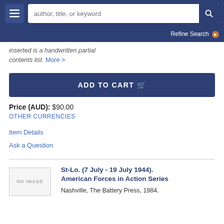author, title, or keyword | Refine Search
inserted is a handwritten partial contents list. More >
ADD TO CART
Price (AUD): $90.00
OTHER CURRENCIES
Item Details
Ask a Question
St-Lo. (7 July - 19 July 1944). American Forces in Action Series
Nashville, The Battery Press, 1984.